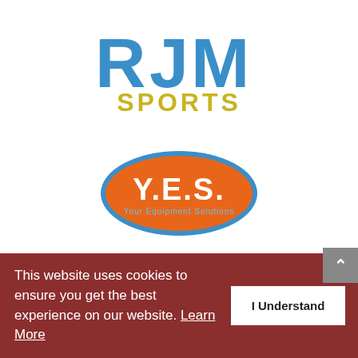[Figure (logo): RJM Sports logo with blue block letters RJM and yellow/gold text SPORTS below]
[Figure (logo): Y.E.S. (Your Equipment Solutions) logo — white bold text on orange oval with blue border]
[Figure (logo): Warriors in the Community logo with bold dark red text and cartoon figures]
This website uses cookies to ensure you get the best experience on our website. Learn More
I Understand